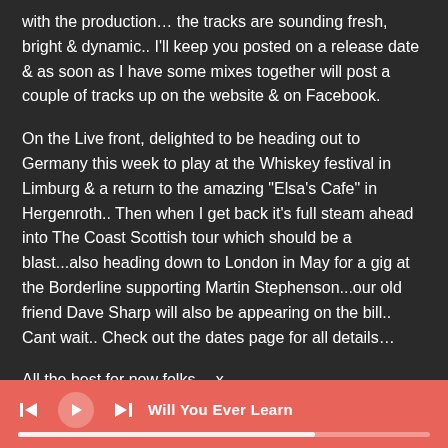with the production… the tracks are sounding fresh, bright & dynamic.. I'll keep you posted on a release date & as soon as I have some mixes together will post a couple of tracks up on the website & on Facebook.
On the Live front, delighted to be heading out to Germany this week to play at the Whiskey festival in Limburg & a return to the amazing "Elsa's Cafe" in Hergenroth.. Then when I get back it's full steam ahead into The Coast Scottish tour which should be a blast...also heading down to London in May for a gig at the Borderline supporting Martin Stephenson...our old friend Dave Sharp will also be appearing on the bill.. Cant wait.. Check out the dates page for all details...
All the best for now folks….x
6TH MARCH 2013 Recording & Live News
[Figure (other): Music player bar with salmon/coral background, showing playback controls (skip back, play, skip forward), song title 'Will You Ever Learn', and a progress bar.]